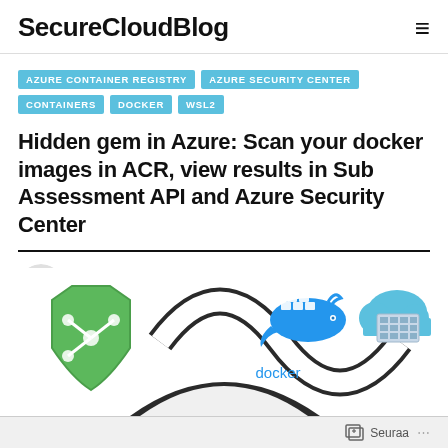SecureCloudBlog
AZURE CONTAINER REGISTRY
AZURE SECURITY CENTER
CONTAINERS
DOCKER
WSL2
Hidden gem in Azure: Scan your docker images in ACR, view results in Sub Assessment API and Azure Security Center
JULKAISSUT JOOSUA SANTASALO
COMMENTS 0
24 HUHTIKUUN, 2020
[Figure (illustration): Illustration showing a green security shield icon with network nodes, Docker whale logo with 'docker' label, and a blue cloud with server/container icon, connected by curved dark lines suggesting a workflow or pipeline.]
Seuraa